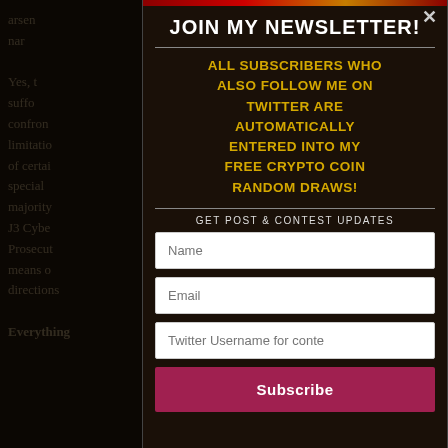arsen... nar... Yes, t... suffi... confron... limitatio... of certai... special ... majority ... J3 Cybe... Prosecut... means o... directions... Everything...
JOIN MY NEWSLETTER!
ALL SUBSCRIBERS WHO ALSO FOLLOW ME ON TWITTER ARE AUTOMATICALLY ENTERED INTO MY FREE CRYPTO COIN RANDOM DRAWS!
GET POST & CONTEST UPDATES
Name
Email
Twitter Username for conte
Subscribe